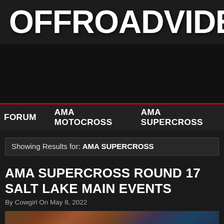OFFROADVIDEOS.c
[Figure (other): Dark banner/advertisement area]
FORUM   AMA MOTOCROSS   AMA SUPERCROSS
Showing Results for: AMA SUPERCROSS
AMA SUPERCROSS ROUND 17 SALT LAKE MAIN EVENTS
By Cowgirl On May 8, 2022
[Figure (photo): Thumbnail image of a motocross/supercross event with colorful flags and crowds visible]